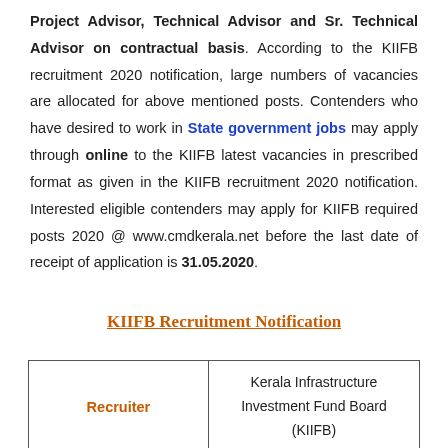Project Advisor, Technical Advisor and Sr. Technical Advisor on contractual basis. According to the KIIFB recruitment 2020 notification, large numbers of vacancies are allocated for above mentioned posts. Contenders who have desired to work in State government jobs may apply through online to the KIIFB latest vacancies in prescribed format as given in the KIIFB recruitment 2020 notification. Interested eligible contenders may apply for KIIFB required posts 2020 @ www.cmdkerala.net before the last date of receipt of application is 31.05.2020.
KIIFB Recruitment Notification
| Recruiter |  |
| --- | --- |
| Recruiter | Kerala Infrastructure Investment Fund Board (KIIFB) |